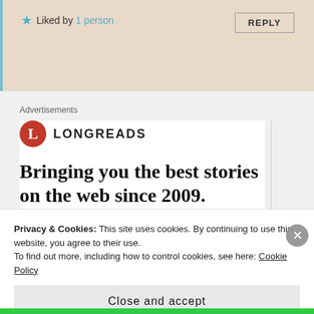★ Liked by 1 person
REPLY
Advertisements
[Figure (logo): Longreads logo: red circle with white L, followed by LONGREADS in bold sans-serif caps]
Bringing you the best stories on the web since 2009.
Start reading
Privacy & Cookies: This site uses cookies. By continuing to use this website, you agree to their use.
To find out more, including how to control cookies, see here: Cookie Policy
Close and accept